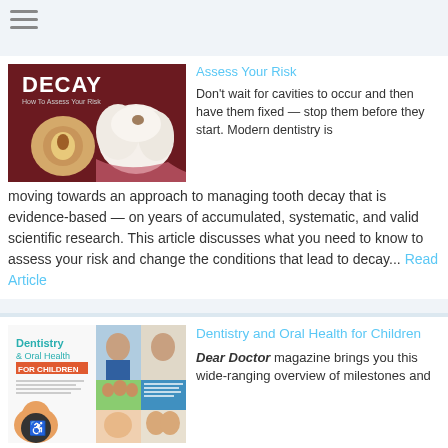[Figure (screenshot): Hamburger menu icon with three horizontal lines]
[Figure (photo): Tooth decay illustration showing cross-section of a tooth with decay, alongside a 3D rendered image of teeth, with the word DECAY displayed prominently on a dark red background]
Assess Your Risk
Don't wait for cavities to occur and then have them fixed — stop them before they start. Modern dentistry is moving towards an approach to managing tooth decay that is evidence-based — on years of accumulated, systematic, and valid scientific research. This article discusses what you need to know to assess your risk and change the conditions that lead to decay... Read Article
[Figure (photo): Magazine cover for Dentistry & Oral Health for Children showing children's faces and a family, with teal title text]
Dentistry and Oral Health for Children
Dear Doctor magazine brings you this wide-ranging overview of milestones and